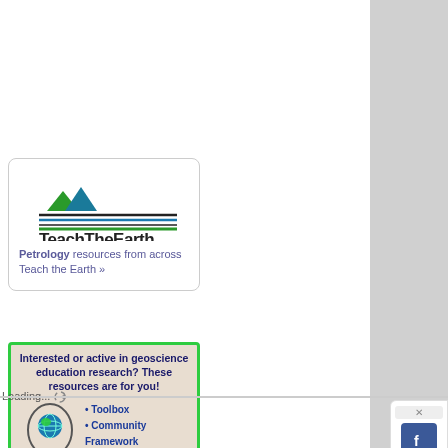[Figure (logo): TeachTheEarth logo with mountain peaks and horizontal lines in green, blue, and black above the text 'TeachTheEarth']
Petrology resources from across Teach the Earth »
[Figure (infographic): NAGT-GER advertisement banner with green border. Headline: 'Interested or active in geoscience education research? These resources are for you!' with bullet points 'Toolbox' and 'Community Framework', a head outline with globe, NAGT-GER label, and 'Click for more info' button.]
Loading...